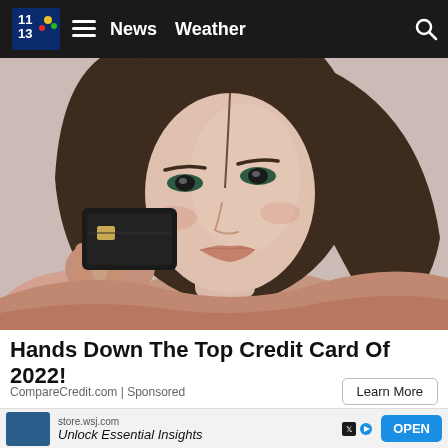News   Weather
[Figure (photo): Woman with brown hair holding a black credit card up near her face, wearing a pink sweater, against a light pink/beige background]
Hands Down The Top Credit Card Of 2022!
CompareCredit.com | Sponsored
Learn More
store.wsj.com  Unlock Essential Insights  OPEN